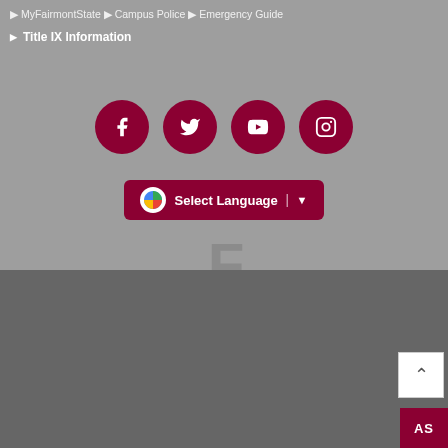▶ MyFairmontState ▶ Campus Police ▶ Emergency Guide
▶ Title IX Information
[Figure (infographic): Four dark red circular social media icons: Facebook (f), Twitter (bird), YouTube, and Instagram]
[Figure (infographic): Google Translate button with G logo, text 'Select Language' and dropdown arrow, on dark red background]
[Figure (infographic): Faint watermark of FSU logo letter F in grey]
Fairmont State University© • 1201 Locust Avenue, Fairmont, WV 26554 | Tel: 304-367-4000 • Toll Free: 1-800-641-5678 • TDD: 304-367-4200 Equal Opportunity/Affirmative Action Institution | Please read The Fine Print 🔒